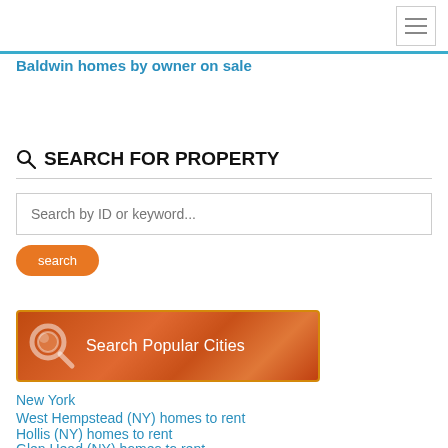Baldwin homes by owner on sale
SEARCH FOR PROPERTY
Search by ID or keyword...
[Figure (illustration): Search Popular Cities banner with magnifying glass icon on orange/brown gradient background]
New York
West Hempstead (NY) homes to rent
Hollis (NY) homes to rent
Glen Head (NY) homes to rent